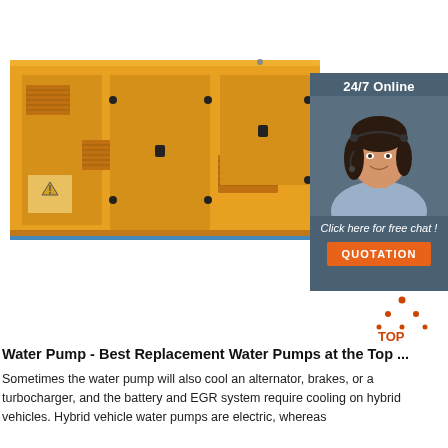[Figure (photo): Large orange industrial generator/enclosure unit, boxy rectangular metal cabinet with ventilation grilles, access doors, and warning labels, shown on white background]
[Figure (photo): Customer service chat panel: dark slate-blue background with '24/7 Online' header, photo of smiling woman with headset, italic text 'Click here for free chat!', and orange 'QUOTATION' button]
[Figure (logo): Orange dot-matrix triangle logo with text 'TOP' below it in orange]
Water Pump - Best Replacement Water Pumps at the Top ...
Sometimes the water pump will also cool an alternator, brakes, or a turbocharger, and the battery and EGR system require cooling on hybrid vehicles. Hybrid vehicle water pumps are electric, whereas